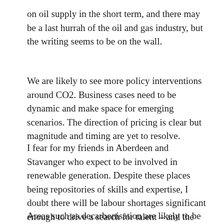on oil supply in the short term, and there may be a last hurrah of the oil and gas industry, but the writing seems to be on the wall.
We are likely to see more policy interventions around CO2. Business cases need to be dynamic and make space for emerging scenarios. The direction of pricing is clear but magnitude and timing are yet to resolve.
I fear for my friends in Aberdeen and Stavanger who expect to be involved in renewable generation. Despite these places being repositories of skills and expertise, I doubt there will be labour shortages significant enough to drive a search for talent – and the inflated labour prices and high-cost working practices are unlikely to be appealing.
Areas such as decarbonisation are likely to be